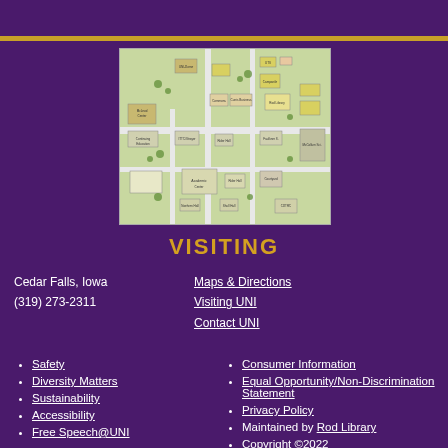[Figure (map): Campus map of University of Northern Iowa showing buildings and pathways]
VISITING
Cedar Falls, Iowa
(319) 273-2311
Maps & Directions
Visiting UNI
Contact UNI
Safety
Diversity Matters
Sustainability
Accessibility
Free Speech@UNI
Consumer Information
Equal Opportunity/Non-Discrimination Statement
Privacy Policy
Maintained by Rod Library
Copyright ©2022